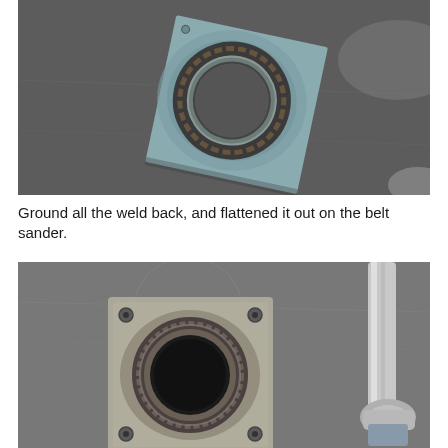[Figure (photo): A metal ring/collar welded onto a square metal plate, photographed on a dark metal workbench surface. The weld bead is visible around the ring.]
Ground all the weld back, and flattened it out on the belt sander.
[Figure (photo): A square metal flange plate with a round tube/collar welded through the center. Four bolt holes are visible in the corners of the flange. A chrome rod or tool is visible on the right side. The part has been ground smooth.]